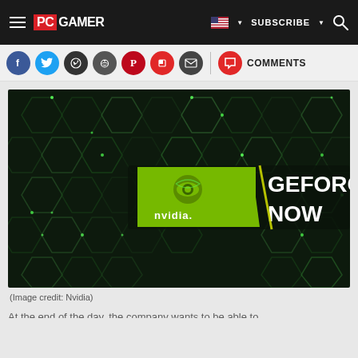PC GAMER | SUBSCRIBE
[Figure (screenshot): Social media share buttons: Facebook, Twitter, WhatsApp, Reddit, Pinterest, Flipboard, Email, and Comments]
[Figure (photo): NVIDIA GeForce NOW promotional image — dark hexagonal background with glowing green edges, NVIDIA logo on a green badge, and GEFORCE NOW text in white]
(Image credit: Nvidia)
Partially visible article body text at bottom of page